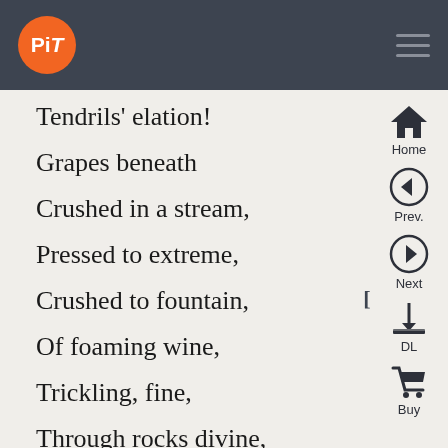[Figure (logo): PiT logo - orange circle with white PiT text, on dark navigation bar]
Tendrils' elation!
Grapes beneath
Crushed in a stream,
Pressed to extreme,
Crushed to fountain, [1475]
Of foaming wine,
Trickling, fine,
Through rocks divine,
Leaving the heights,
Spreading beneath, [1480]